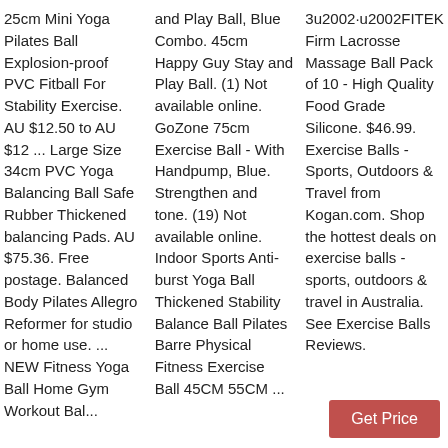25cm Mini Yoga Pilates Ball Explosion-proof PVC Fitball For Stability Exercise. AU $12.50 to AU $12 ... Large Size 34cm PVC Yoga Balancing Ball Safe Rubber Thickened balancing Pads. AU $75.36. Free postage. Balanced Body Pilates Allegro Reformer for studio or home use. ... NEW Fitness Yoga Ball Home Gym Workout Bal...
and Play Ball, Blue Combo. 45cm Happy Guy Stay and Play Ball. (1) Not available online. GoZone 75cm Exercise Ball - With Handpump, Blue. Strengthen and tone. (19) Not available online. Indoor Sports Anti-burst Yoga Ball Thickened Stability Balance Ball Pilates Barre Physical Fitness Exercise Ball 45CM 55CM ...
3u2002·u2002FITEK Firm Lacrosse Massage Ball Pack of 10 - High Quality Food Grade Silicone. $46.99. Exercise Balls - Sports, Outdoors & Travel from Kogan.com. Shop the hottest deals on exercise balls - sports, outdoors & travel in Australia. See Exercise Balls Reviews.
Get Price